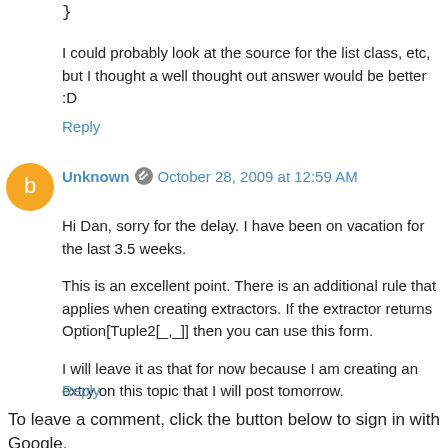}
I could probably look at the source for the list class, etc, but I thought a well thought out answer would be better :D
Reply
Unknown  October 28, 2009 at 12:59 AM
Hi Dan, sorry for the delay. I have been on vacation for the last 3.5 weeks.

This is an excellent point. There is an additional rule that applies when creating extractors. If the extractor returns Option[Tuple2[_,_]] then you can use this form.

I will leave it as that for now because I am creating an extry on this topic that I will post tomorrow.
Reply
To leave a comment, click the button below to sign in with Google.